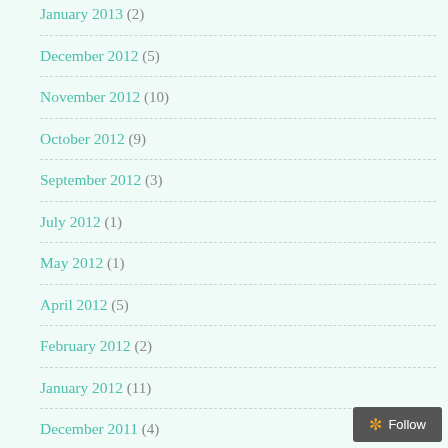January 2013 (2)
December 2012 (5)
November 2012 (10)
October 2012 (9)
September 2012 (3)
July 2012 (1)
May 2012 (1)
April 2012 (5)
February 2012 (2)
January 2012 (11)
December 2011 (4)
November 2011 (4)